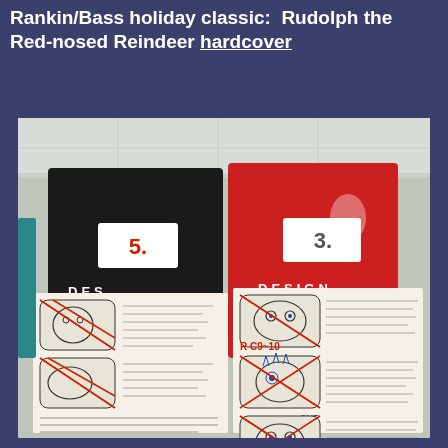Rankin/Bass holiday classic:  Rudolph the Red-nosed Reindeer hardcover
[Figure (photo): Photograph of open storyboard/design books numbered 5 and 3, displayed in a glass case. The books show animation storyboard panels with hand-drawn character sketches (appearing to be from Rudolph the Red-nosed Reindeer), with Japanese and English handwritten notes, red diagonal lines crossing some panels, and the word DESIGN visible on red and black binder covers.]